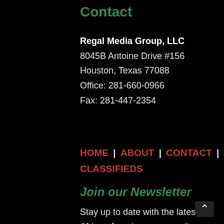Contact
Regal Media Group, LLC
8045B Antoine Drive #156
Houston, Texas 77088
Office: 281-660-0966
Fax: 281-447-2354
HOME | ABOUT | CONTACT | CLASSIFIEDS
Join our Newsletter
Stay up to date with the latest African American community news by subscribing today!